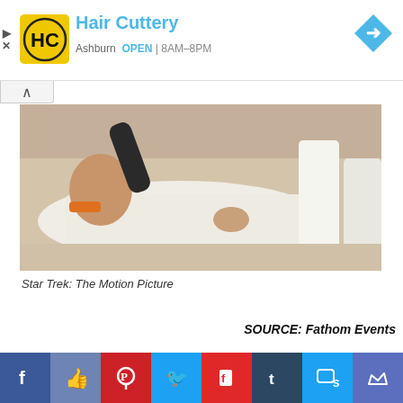[Figure (other): Hair Cuttery advertisement banner with yellow HC logo, brand name in blue, location Ashburn OPEN 8AM-8PM, and blue navigation diamond icon]
[Figure (photo): Movie still from Star Trek: The Motion Picture showing a man in white clothes lying on a table surrounded by people in white uniforms]
Star Trek: The Motion Picture
SOURCE: Fathom Events
[Figure (other): Social media sharing bar with Facebook, Like, Pinterest, Twitter, Flipboard, Tumblr, SMS, and Crown buttons]